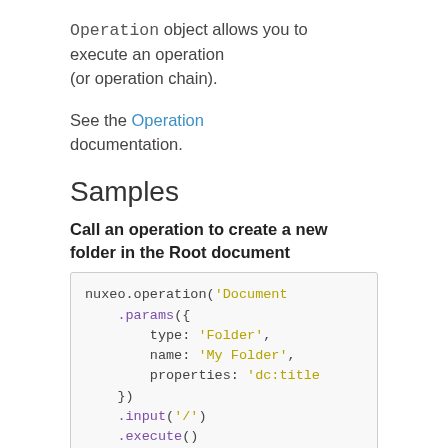Operation object allows you to execute an operation (or operation chain).
See the Operation documentation.
Samples
Call an operation to create a new folder in the Root document
nuxeo.operation('Document
    .params({
        type: 'Folder',
        name: 'My Folder',
        properties: 'dc:title
    })
    .input('/')
    .execute()
    .then(function(doc) {
      console.log('Created
    })